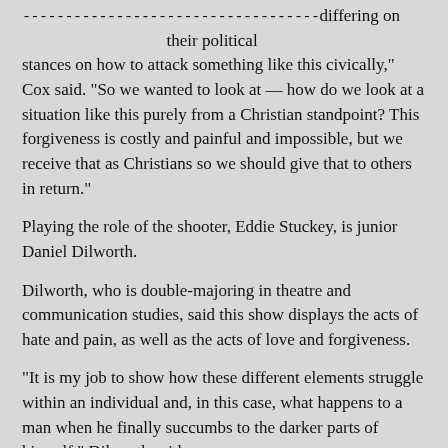-----------------------------------differing on their political stances on how to attack something like this civically," Cox said. "So we wanted to look at — how do we look at a situation like this purely from a Christian standpoint? This forgiveness is costly and painful and impossible, but we receive that as Christians so we should give that to others in return."
Playing the role of the shooter, Eddie Stuckey, is junior Daniel Dilworth.
Dilworth, who is double-majoring in theatre and communication studies, said this show displays the acts of hate and pain, as well as the acts of love and forgiveness.
“It is my job to show how these different elements struggle within an individual and, in this case, what happens to a man when he finally succumbs to the darker parts of himself,” Dilworth said.